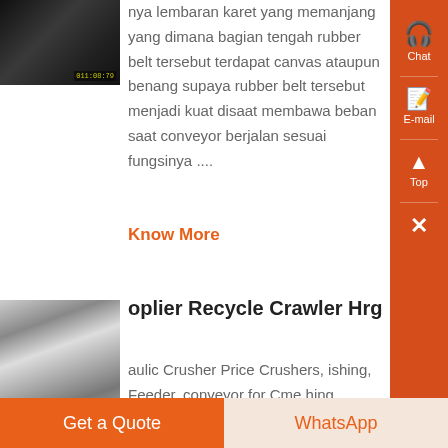[Figure (photo): Small dark thumbnail image of industrial machinery]
nya lembaran karet yang memanjang yang dimana bagian tengah rubber belt tersebut terdapat canvas ataupun benang supaya rubber belt tersebut menjadi kuat disaat membawa beban saat conveyor berjalan sesuai fungsinya ....
Know More
[Figure (photo): Industrial crushing machinery image]
oplier Recycle Crawler Hrg
aulic Crusher Price Crushers, ishing, Feeder, conveyor for Cme hing machines australia As a hal manufacturer of crushing
Get a Quote
WhatsApp